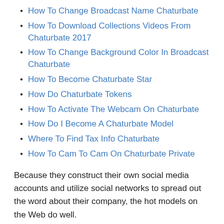How To Change Broadcast Name Chaturbate
How To Download Collections Videos From Chaturbate 2017
How To Change Background Color In Broadcast Chaturbate
How To Become Chaturbate Star
How Do Chaturbate Tokens
How To Activate The Webcam On Chaturbate
How Do I Become A Chaturbate Model
Where To Find Tax Info Chaturbate
How To Cam To Cam On Chaturbate Private
Because they construct their own social media accounts and utilize social networks to spread out the word about their company, the hot models on the Web do well.
They utilize these accounts to develop a big following of fans.
The models, known as broadcasters, might at first be encouraged